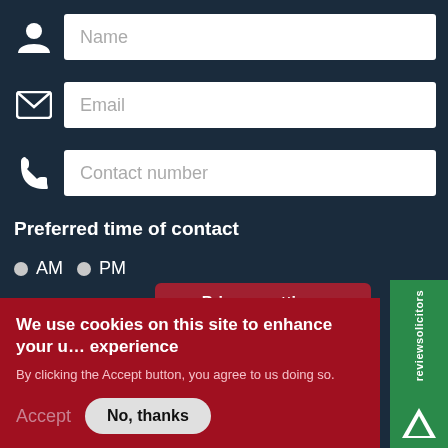[Figure (screenshot): Contact form with Name, Email, Contact number fields, preferred time of contact with AM/PM radio buttons, Message area, Privacy settings popup overlay, cookie consent banner with Accept and No thanks options, and ReviewSolicitors green sidebar badge.]